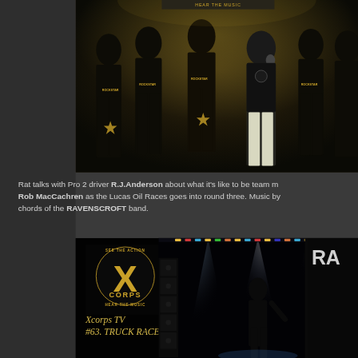[Figure (photo): XcorpsTV host Rat Sult with Rockstar Energy promotional models (Rockettes) in black and gold uniforms at what appears to be a motorsport event. Several women in matching black crop tops and skirts with gold star accents stand with the male host who holds a microphone.]
XcorpsTV host Rat Sult - Rockstar Ene...
Rat talks with Pro 2 driver R.J.Anderson about what it's like to be team m... Rob MacCachren as the Lucas Oil Races goes into round three. Music by ... chords of the RAVENSCROFT band.
[Figure (screenshot): Xcorps TV episode thumbnail showing the XCorps logo (gold X on black with 'SEE THE ACTION' and 'HEAR THE MUSIC' text), text reading 'Xcorps TV #63. TRUCK RACES' in gold italic font, and a concert performer on stage with dramatic lighting on the right side. A partial black panel appears on the far right.]